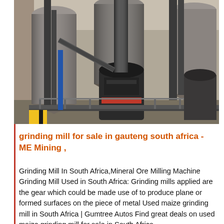[Figure (photo): Industrial grinding mill machinery inside a large warehouse/factory. Large metal silos, cylindrical grinders, pipes and ductwork visible. A prominent dark cylindrical mill with an orange band is in the center-right. Heavy industrial equipment in a grey metal building.]
grinding mill for sale in gauteng south africa - ME Mining ,
Grinding Mill In South Africa,Mineral Ore Milling Machine Grinding Mill Used in South Africa: Grinding mills applied are the gear which could be made use of to produce plane or formed surfaces on the piece of metal Used maize grinding mill in South Africa | Gumtree Autos Find great deals on used maize grinding mill for sale in South Africa